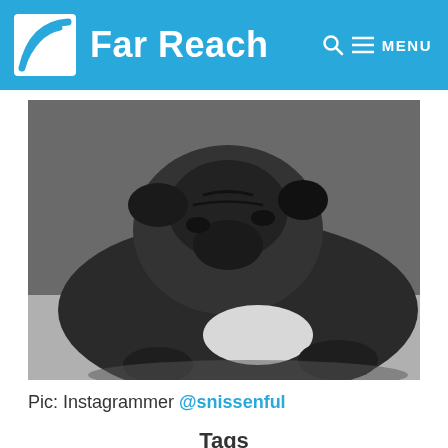Far Reach — MENU
[Figure (photo): Black and white photo of a pug dog lying on a couch, looking upward with a wrinkled face, white patch on chest, paws resting on the surface]
Pic: Instagrammer @snissenful
Tags